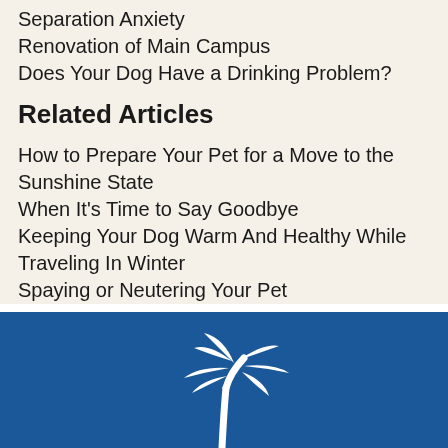Separation Anxiety
Renovation of Main Campus
Does Your Dog Have a Drinking Problem?
Related Articles
How to Prepare Your Pet for a Move to the Sunshine State
When It's Time to Say Goodbye
Keeping Your Dog Warm And Healthy While Traveling In Winter
Spaying or Neutering Your Pet
[Figure (logo): White palm tree logo on blue background]